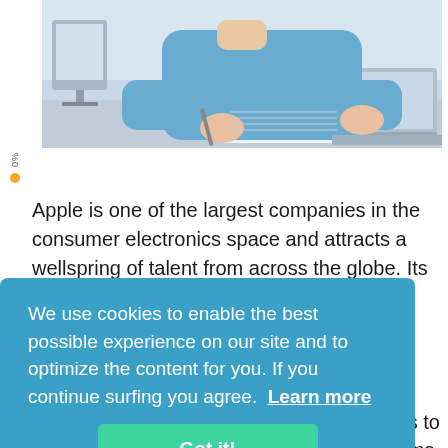[Figure (photo): Person in blue shirt sitting at desk, writing on paper with a laptop nearby, office setting with light background]
Apple is one of the largest companies in the consumer electronics space and attracts a wellspring of talent from across the globe. Its technical interview
We use cookies to enable the best possible experience on our site and to optimize the content for you. If you continue surfing you agree.  Learn more
Got it!
Several other aspects, such as creating a strong